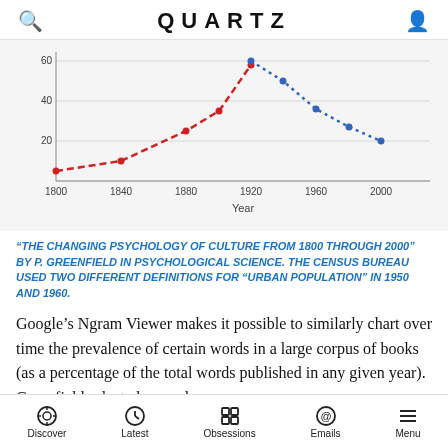QUARTZ
[Figure (line-chart): Two crossing dashed lines: red line rising from ~5% in 1800 to ~60% in 1920 then cut off; blue dotted line declining from ~60% in 1920 to ~20% in 2000.]
“THE CHANGING PSYCHOLOGY OF CULTURE FROM 1800 THROUGH 2000” BY P. GREENFIELD IN PSYCHOLOGICAL SCIENCE. THE CENSUS BUREAU USED TWO DIFFERENT DEFINITIONS FOR “URBAN POPULATION” IN 1950 AND 1960.
Google’s Ngram Viewer makes it possible to similarly chart over time the prevalence of certain words in a large corpus of books (as a percentage of the total words published in any given year). Greenfield selected several
Discover  Latest  Obsessions  Emails  Menu